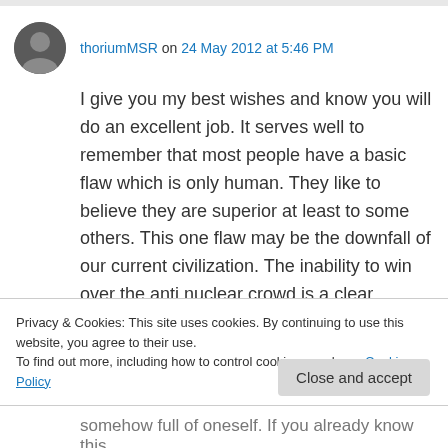thoriumMSR on 24 May 2012 at 5:46 PM
I give you my best wishes and know you will do an excellent job. It serves well to remember that most people have a basic flaw which is only human. They like to believe they are superior at least to some others. This one flaw may be the downfall of our current civilization. The inability to win over the anti nuclear crowd is a clear example of this flaw. Being right is more
Privacy & Cookies: This site uses cookies. By continuing to use this website, you agree to their use.
To find out more, including how to control cookies, see here: Cookie Policy
Close and accept
somehow full of oneself. If you already know this